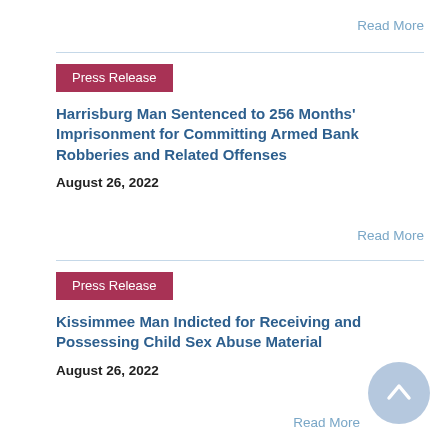Read More
Press Release
Harrisburg Man Sentenced to 256 Months' Imprisonment for Committing Armed Bank Robberies and Related Offenses
August 26, 2022
Read More
Press Release
Kissimmee Man Indicted for Receiving and Possessing Child Sex Abuse Material
August 26, 2022
Read More